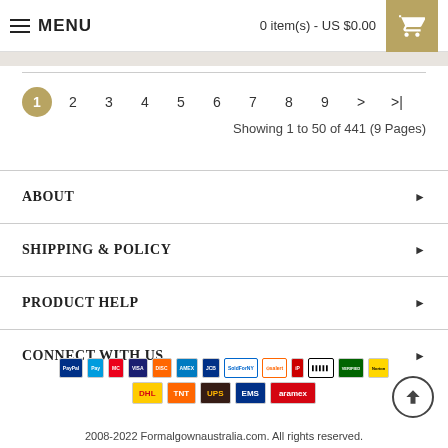MENU | 0 item(s) - US $0.00
Showing 1 to 50 of 441 (9 Pages)
ABOUT
SHIPPING & POLICY
PRODUCT HELP
CONNECT WITH US
[Figure (logo): Payment and shipping provider logos: PayPal, Mastercard, Visa, Discover, Amex, JCB, SoldForNY, Salert, IP, barcode, verified, Norton, DHL, TNT, UPS, EMS, Aramex]
2008-2022 Formalgownaustralia.com. All rights reserved.